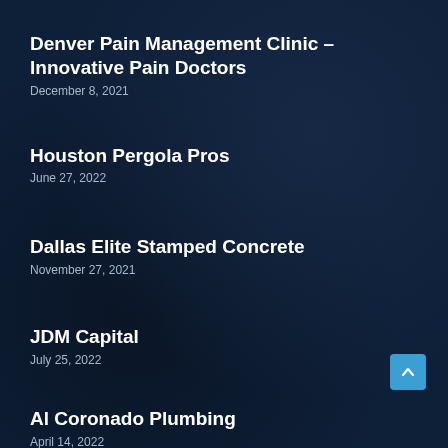Denver Pain Management Clinic – Innovative Pain Doctors
December 8, 2021
Houston Pergola Pros
June 27, 2022
Dallas Elite Stamped Concrete
November 27, 2021
JDM Capital
July 25, 2022
Al Coronado Plumbing
April 14, 2022